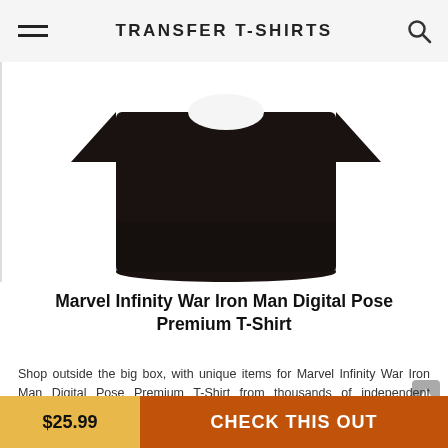TRANSFER T-SHIRTS
[Figure (photo): Black t-shirt folded/laid flat on white background, showing the body of the garment]
Marvel Infinity War Iron Man Digital Pose Premium T-Shirt
Shop outside the big box, with unique items for Marvel Infinity War Iron Man Digital Pose Premium T-Shirt from thousands of independent designers and vintage collectors on TransferTshirts - Best clothing and cool T-Shirts for Iron Man fans
$25.99
CHECK THIS OUT